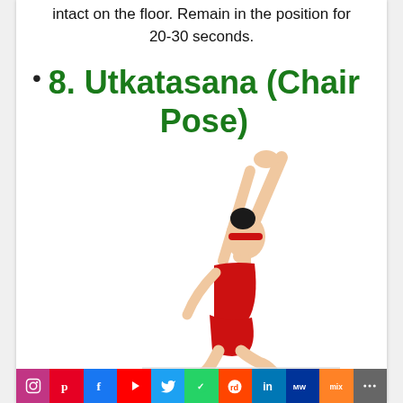intact on the floor. Remain in the position for 20-30 seconds.
8. Utkatasana (Chair Pose)
[Figure (photo): A woman in a red sports outfit performing the Utkatasana (Chair Pose) yoga position, with arms raised above her head, knees bent, and body leaning forward on a white background.]
Instagram Pinterest Facebook YouTube Twitter WhatsApp Reddit LinkedIn MeWe Mix More